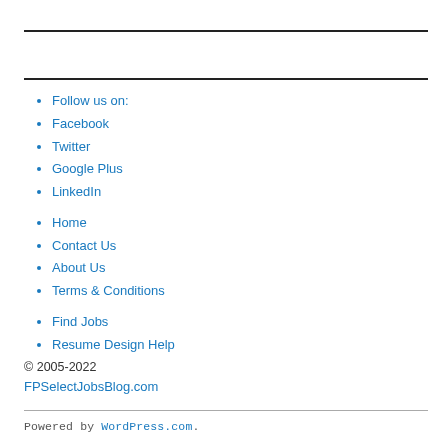Follow us on:
Facebook
Twitter
Google Plus
LinkedIn
Home
Contact Us
About Us
Terms & Conditions
Find Jobs
Resume Design Help
© 2005-2022
FPSelectJobsBlog.com
Powered by WordPress.com.